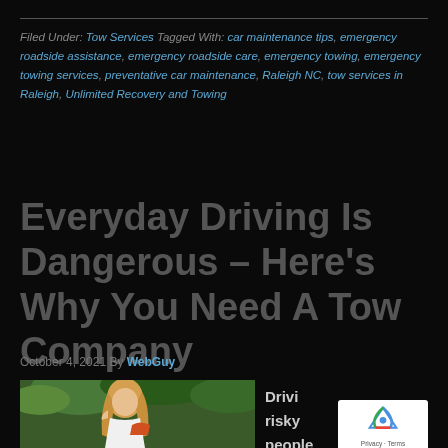Filed Under: Tow Services Tagged With: car maintenance tips, emergency roadside assistance, emergency roadside care, emergency towing, emergency towing services, preventative car maintenance, Raleigh NC, tow services in Raleigh, Unlimited Recovery and Towing
Everyday Driving Is Dangerous – Here's Why You Need A Tow Company
October 4, 2021 By WebGuy
[Figure (photo): Woman with blonde hair looking distressed, holding a phone to her ear, outdoors with green foliage background]
Drivi... risky... people